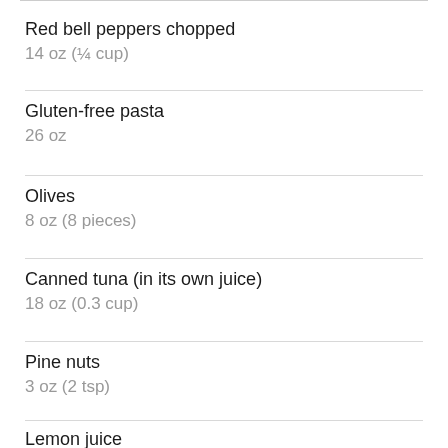Red bell peppers chopped
14 oz (¼ cup)
Gluten-free pasta
26 oz
Olives
8 oz (8 pieces)
Canned tuna (in its own juice)
18 oz (0.3 cup)
Pine nuts
3 oz (2 tsp)
Lemon juice